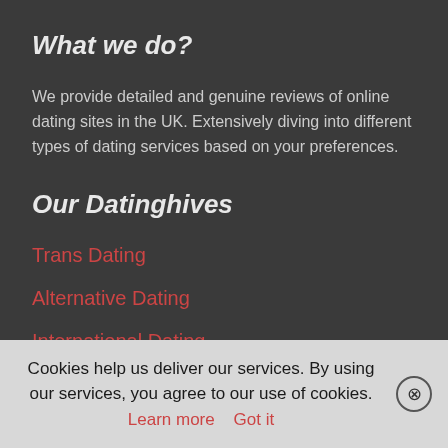What we do?
We provide detailed and genuine reviews of online dating sites in the UK. Extensively diving into different types of dating services based on your preferences.
Our Datinghives
Trans Dating
Alternative Dating
International Dating
Casual Dating
Senior Dating
Cookies help us deliver our services. By using our services, you agree to our use of cookies. Learn more   Got it